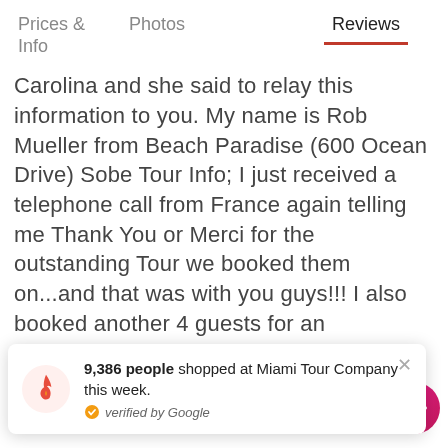Prices & Info   Photos   Reviews
Carolina and she said to relay this information to you. My name is Rob Mueller from Beach Paradise (600 Ocean Drive) Sobe Tour Info; I just received a telephone call from France again telling me Thank You or Merci for the outstanding Tour we booked them on...and that was with you guys!!! I also booked another 4 guests for an Everglades trip with you all tomorrow morning. They said they raved to their friends about the
9,386 people shopped at Miami Tour Company this week. verified by Google